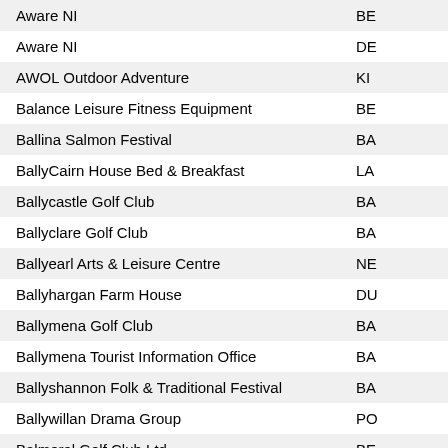| Organisation | Location |
| --- | --- |
| Aware NI | BE |
| Aware NI | DE |
| AWOL Outdoor Adventure | KI |
| Balance Leisure Fitness Equipment | BE |
| Ballina Salmon Festival | BA |
| BallyCairn House Bed & Breakfast | LA |
| Ballycastle Golf Club | BA |
| Ballyclare Golf Club | BA |
| Ballyearl Arts & Leisure Centre | NE |
| Ballyhargan Farm House | DU |
| Ballymena Golf Club | BA |
| Ballymena Tourist Information Office | BA |
| Ballyshannon Folk & Traditional Festival | BA |
| Ballywillan Drama Group | PO |
| Balmoral Golf Club Ltd | BE |
| Balmoral Show 15th - 18th May | LI |
| Banbridge Golf Club | BA |
| Banbridge Musical Society | BA |